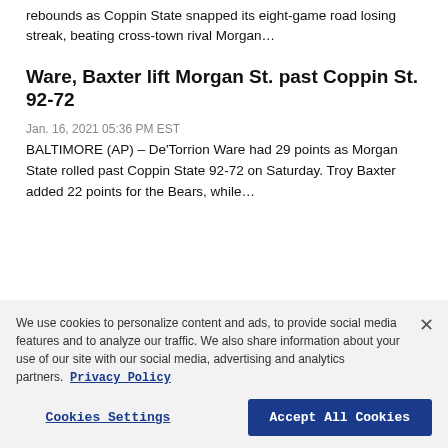rebounds as Coppin State snapped its eight-game road losing streak, beating cross-town rival Morgan…
Ware, Baxter lift Morgan St. past Coppin St. 92-72
Jan. 16, 2021 05:36 PM EST
BALTIMORE (AP) – De'Torrion Ware had 29 points as Morgan State rolled past Coppin State 92-72 on Saturday. Troy Baxter added 22 points for the Bears, while…
We use cookies to personalize content and ads, to provide social media features and to analyze our traffic. We also share information about your use of our site with our social media, advertising and analytics partners. Privacy Policy
Cookies Settings | Accept All Cookies